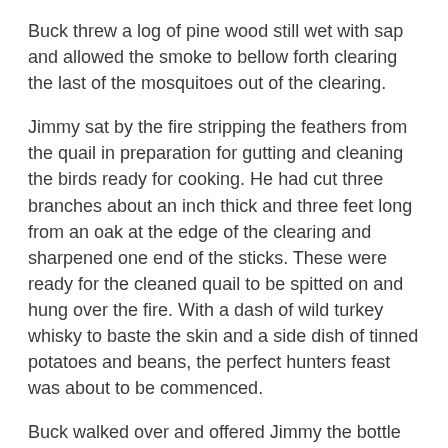Buck threw a log of pine wood still wet with sap and allowed the smoke to bellow forth clearing the last of the mosquitoes out of the clearing.
Jimmy sat by the fire stripping the feathers from the quail in preparation for gutting and cleaning the birds ready for cooking. He had cut three branches about an inch thick and three feet long from an oak at the edge of the clearing and sharpened one end of the sticks. These were ready for the cleaned quail to be spitted on and hung over the fire. With a dash of wild turkey whisky to baste the skin and a side dish of tinned potatoes and beans, the perfect hunters feast was about to be commenced.
Buck walked over and offered Jimmy the bottle of wild turkey whisky, and jimmy wiped the blood and feathers from his fingers over his jacket, gripped the bottle and took a long swig.
He coughed and his eyes watered, “Jesus Buck ”, he said with a hoarse voice, “ how can you drink that stuff ”, and carried on cleaning the guts out of the last quail carcass.